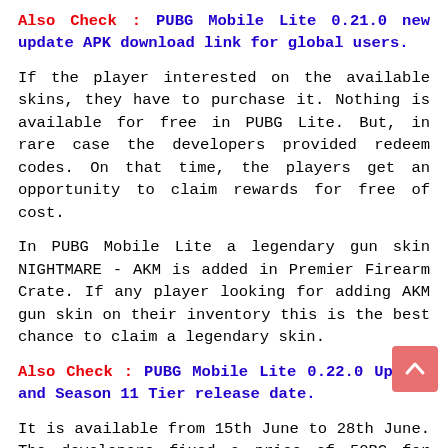Also Check : PUBG Mobile Lite 0.21.0 new update APK download link for global users.
If the player interested on the available skins, they have to purchase it. Nothing is available for free in PUBG Lite. But, in rare case the developers provided redeem codes. On that time, the players get an opportunity to claim rewards for free of cost.
In PUBG Mobile Lite a legendary gun skin NIGHTMARE - AKM is added in Premier Firearm Crate. If any player looking for adding AKM gun skin on their inventory this is the best chance to claim a legendary skin.
Also Check : PUBG Mobile Lite 0.22.0 Update and Season 11 Tier release date.
It is available from 15th June to 28th June. The developers fixed a price of 50BC for opening crate in once. If you have luck, that will come in your 1st open, otherwise you've to spend more BC, that's to your capability.
Because BC is the expensive currency in PUBG Lite. By